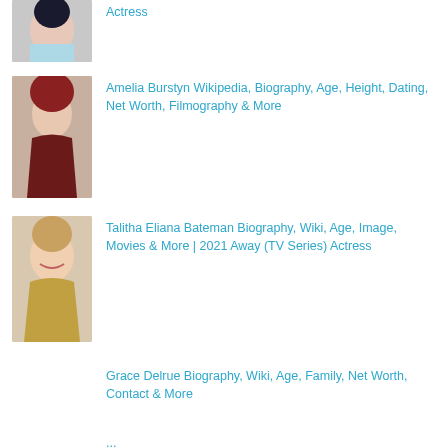[Figure (photo): Portrait photo of a woman with dark hair, red lips, light blue top - partially visible at top]
Actress
[Figure (photo): Portrait photo of a woman with red/auburn hair wearing a dark red/maroon outfit]
Amelia Burstyn Wikipedia, Biography, Age, Height, Dating, Net Worth, Filmography & More
[Figure (photo): Portrait photo of a young blonde girl smiling, wearing a fur-trimmed outfit]
Talitha Eliana Bateman Biography, Wiki, Age, Image, Movies & More | 2021 Away (TV Series) Actress
Grace Delrue Biography, Wiki, Age, Family, Net Worth, Contact & More
partial text cut off at bottom